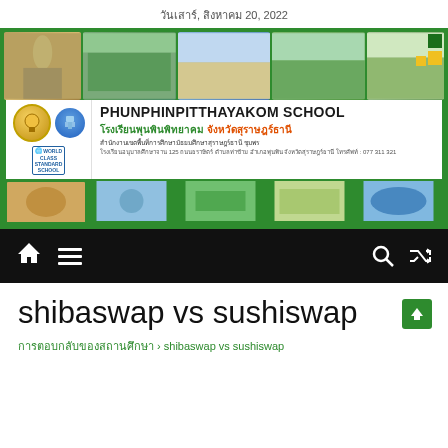วันเสาร์, สิงหาคม 20, 2022
[Figure (photo): School banner with photos of campus, building, and students, plus school logo and Thai/English school name: PHUNPHINPITTHAYAKOM SCHOOL โรงเรียนพุนพินพิทยาคม จังหวัดสุราษฎร์ธานี]
PHUNPHINPITTHAYAKOM SCHOOL
โรงเรียนพุนพินพิทยาคม จังหวัดสุราษฎร์ธานี
สำนักงานเขตพื้นที่การศึกษามัธยมศึกษาสุราษฎร์ธานี ชุมพร
โรงเรียนอนุบาลศึกษาจาน 125 ถนนธราษิตร์ ตำบลท่าข้าม อำเภอพุนพิน จังหวัดสุราษฎร์ธานี โทรศัพท์ : 077 311 321
shibaswap vs sushiswap
การตอบกลับของสถานศึกษา › shibaswap vs sushiswap